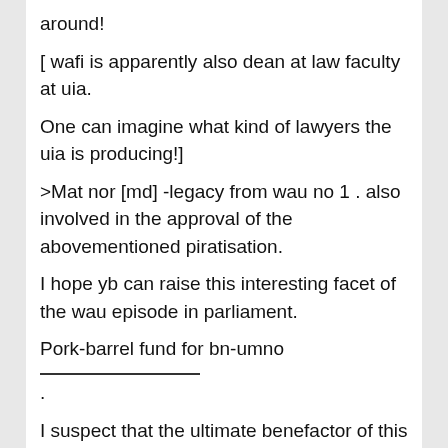around!
[ wafi is apparently also dean at law faculty at uia.
One can imagine what kind of lawyers the uia is producing!]
>Mat nor [md] -legacy from wau no 1 . also involved in the approval of the abovementioned piratisation.
I hope yb can raise this interesting facet of the wau episode in parliament.
Pork-barrel fund for bn-umno
.
I suspect that the ultimate benefactor of this